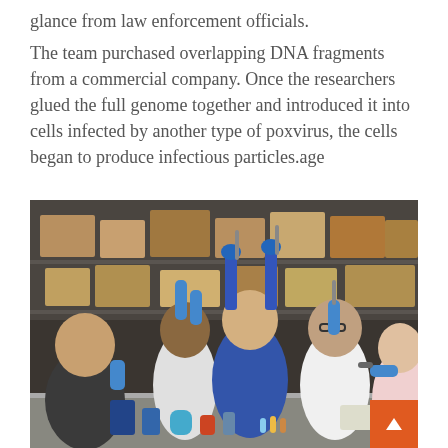glance from law enforcement officials.
The team purchased overlapping DNA fragments from a commercial company. Once the researchers glued the full genome together and introduced it into cells infected by another type of poxvirus, the cells began to produce infectious particles.age
[Figure (photo): Laboratory researchers working together at a bench, wearing blue gloves and using pipettes. Five researchers visible in a lab setting with shelving and boxes in the background.]